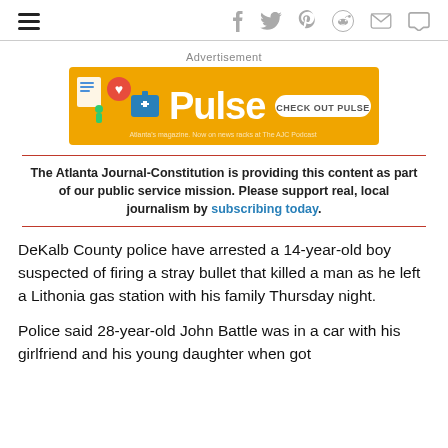Navigation bar with hamburger menu and social icons: Facebook, Twitter, Pinterest, Reddit, Email, Comment
Advertisement
[Figure (other): Pulse advertisement banner with orange background, health icons and 'CHECK OUT PULSE' button]
The Atlanta Journal-Constitution is providing this content as part of our public service mission. Please support real, local journalism by subscribing today.
DeKalb County police have arrested a 14-year-old boy suspected of firing a stray bullet that killed a man as he left a Lithonia gas station with his family Thursday night.
Police said 28-year-old John Battle was in a car with his girlfriend and his young daughter when got